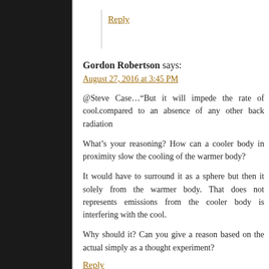Reply
Gordon Robertson says:
August 27, 2016 at 3:45 PM
@Steve Case…“But it will impede the rate of cool.compared to an absence of any other back radiation
What’s your reasoning? How can a cooler body in proximity slow the cooling of the warmer body?
It would have to surround it as a sphere but then it solely from the warmer body. That does not repre emissions from the cooler body is interfering with the cool.
Why should it? Can you give a reason based on the a simply as a thought experiment?
Reply